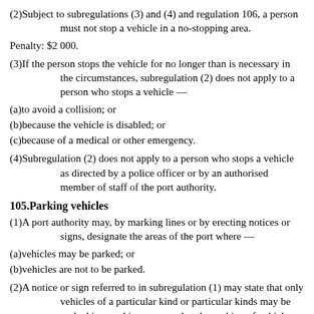(2)Subject to subregulations (3) and (4) and regulation 106, a person must not stop a vehicle in a no-stopping area.
Penalty: $2 000.
(3)If the person stops the vehicle for no longer than is necessary in the circumstances, subregulation (2) does not apply to a person who stops a vehicle —
(a)to avoid a collision; or
(b)because the vehicle is disabled; or
(c)because of a medical or other emergency.
(4)Subregulation (2) does not apply to a person who stops a vehicle as directed by a police officer or by an authorised member of staff of the port authority.
105.Parking vehicles
(1)A port authority may, by marking lines or by erecting notices or signs, designate the areas of the port where —
(a)vehicles may be parked; or
(b)vehicles are not to be parked.
(2)A notice or sign referred to in subregulation (1) may state that only vehicles of a particular kind or particular kinds may be parked in a parking area, or that the parking of vehicles